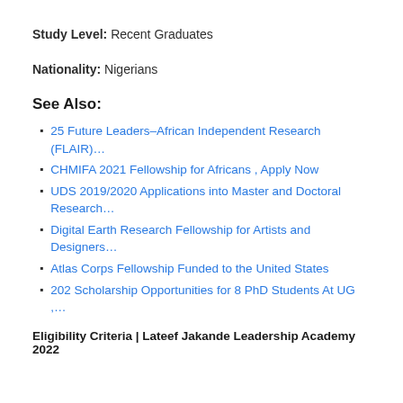Study Level: Recent Graduates
Nationality: Nigerians
See Also:
25 Future Leaders–African Independent Research (FLAIR)…
CHMIFA 2021 Fellowship for Africans , Apply Now
UDS 2019/2020 Applications into Master and Doctoral Research…
Digital Earth Research Fellowship for Artists and Designers…
Atlas Corps Fellowship Funded to the United States
202 Scholarship Opportunities for 8 PhD Students At UG ,…
Eligibility Criteria | Lateef Jakande Leadership Academy 2022